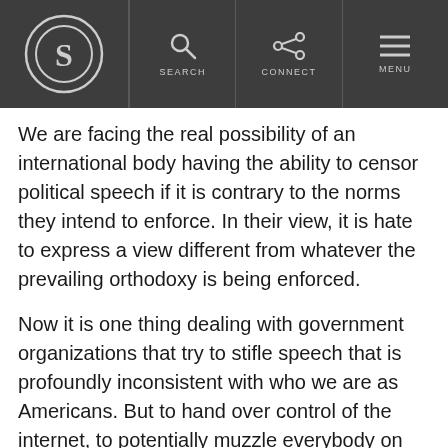S — SEARCH | CONNECT | MENU
We are facing the real possibility of an international body having the ability to censor political speech if it is contrary to the norms they intend to enforce. In their view, it is hate to express a view different from whatever the prevailing orthodoxy is being enforced.
Now it is one thing dealing with government organizations that try to stifle speech that is profoundly inconsistent with who we are as Americans. But to hand over control of the internet, to potentially muzzle everybody on the internet, is to ensure that what you say is only consistent with whatever is approved by the powers that be, and that ought to frighten everybody. And there is something we can do about it.